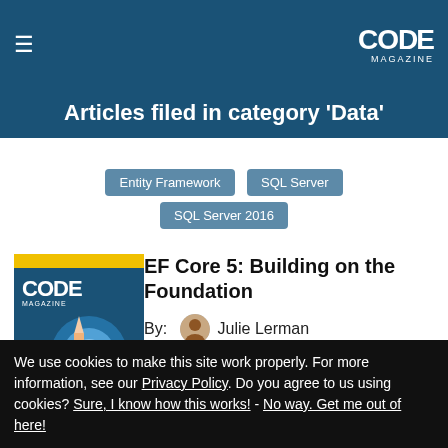CODE Magazine
Articles filed in category 'Data'
Entity Framework
SQL Server
SQL Server 2016
[Figure (illustration): CODE Magazine cover image for the article EF Core 5: Building on the Foundation]
EF Core 5: Building on the Foundation
By: Julie Lerman
Last updated: Wednesday, December 16, 2020
We use cookies to make this site work properly. For more information, see our Privacy Policy. Do you agree to us using cookies? Sure, I know how this works! - No way. Get me out of here!